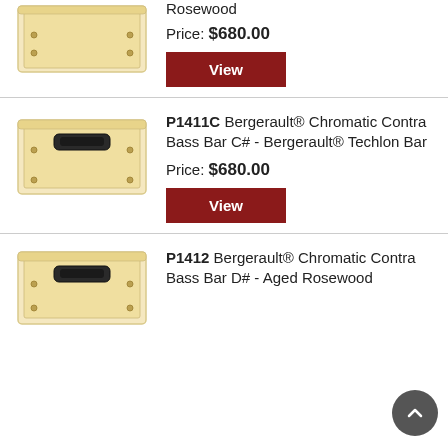[Figure (photo): Bergerault Chromatic Contra Bass Bar product photo - wooden box, partial view at top]
Rosewood
Price: $680.00
View
[Figure (photo): Bergerault Chromatic Contra Bass Bar C# product photo - wooden box with black handle]
P1411C Bergerault® Chromatic Contra Bass Bar C# - Bergerault® Techlon Bar
Price: $680.00
View
[Figure (photo): Bergerault Chromatic Contra Bass Bar D# product photo - wooden box with black handle, partial view]
P1412 Bergerault® Chromatic Contra Bass Bar D# - Aged Rosewood